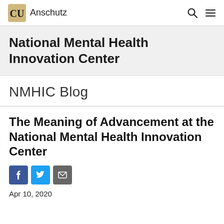CU Anschutz
National Mental Health Innovation Center
NMHIC Blog
The Meaning of Advancement at the National Mental Health Innovation Center
Apr 10, 2020